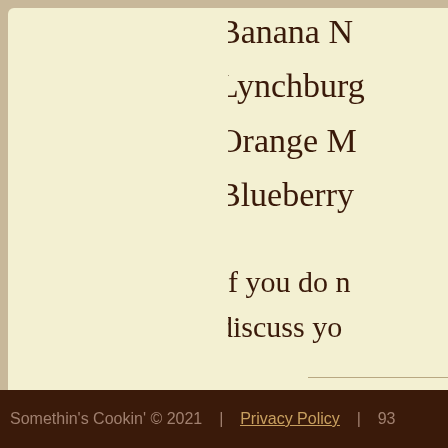Banana N...
Lynchburg...
Orange M...
Blueberry ...
If you do n... discuss yo...
Somethin's Cookin' © 2021   |   Privacy Policy   |   93...